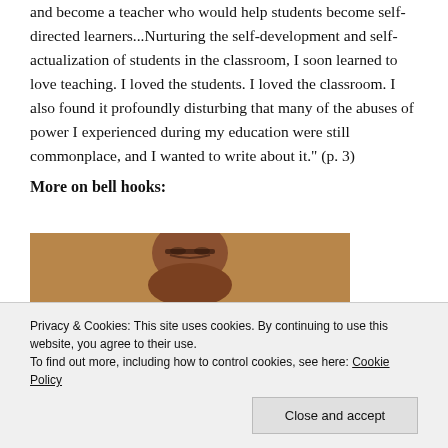and become a teacher who would help students become self-directed learners...Nurturing the self-development and self-actualization of students in the classroom, I soon learned to love teaching. I loved the students. I loved the classroom. I also found it profoundly disturbing that many of the abuses of power I experienced during my education were still commonplace, and I wanted to write about it." (p. 3)
More on bell hooks:
[Figure (photo): Photo of bell hooks, a Black woman with short hair and glasses, smiling, photographed from below against a warm brown background]
Privacy & Cookies: This site uses cookies. By continuing to use this website, you agree to their use.
To find out more, including how to control cookies, see here: Cookie Policy